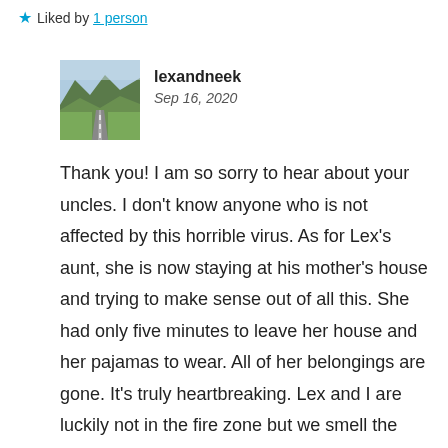★ Liked by 1 person
[Figure (photo): Avatar image of a road stretching into the distance with green hills and mountains in the background]
lexandneek
Sep 16, 2020
Thank you! I am so sorry to hear about your uncles. I don't know anyone who is not affected by this horrible virus. As for Lex's aunt, she is now staying at his mother's house and trying to make sense out of all this. She had only five minutes to leave her house and her pajamas to wear. All of her belongings are gone. It's truly heartbreaking. Lex and I are luckily not in the fire zone but we smell the